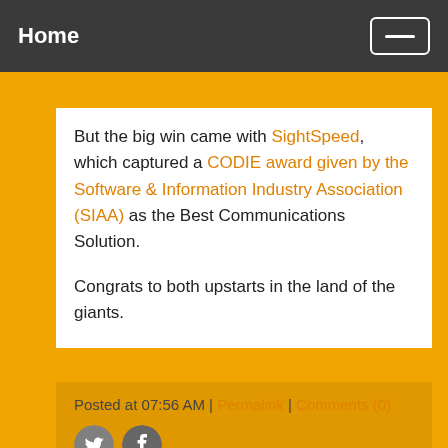Home
But the big win came with SightSpeed, which captured a CODIE award given by the Software & Information Industry Association (SIAA) as the Best Communications Solution.
Congrats to both upstarts in the land of the giants.
Posted at 07:56 AM | Permalink | Comments (0)
[Figure (other): Twitter and Facebook social share icons]